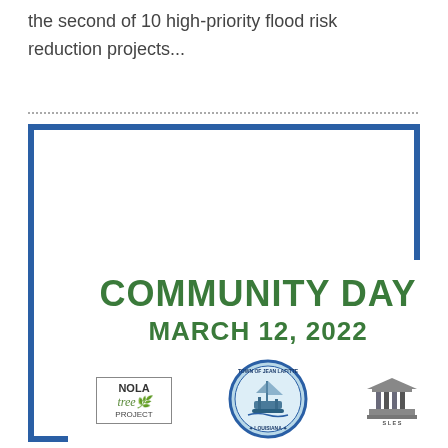the second of 10 high-priority flood risk reduction projects...
[Figure (infographic): Community Day flyer for March 12, 2022, featuring logos for NOLA Tree Project, Town of Jean Lafitte Louisiana, Southwest Legal, Convoy of Hope, and Lions International. Event at St. Anthony's Church Hall and Town Hall, 9:00 AM to Noon. Bullet points list: Tree Give-A-Way from NOLA Tree Project, Free Food from Convoy of Hope, Free Legal Services from the Southwest Legal, Free Blankets from Lions International.]